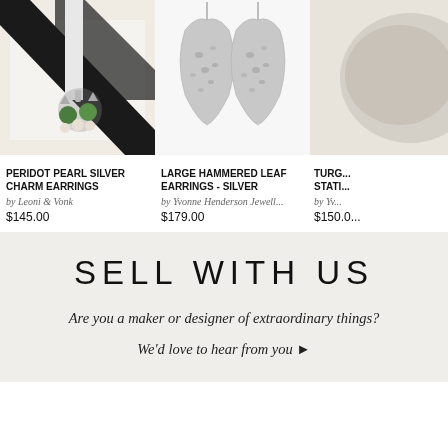[Figure (photo): Peridot pearl silver charm earrings with green gems, pearls, and silver charms hanging from a white ribbon against black and white gift box background]
PERIDOT PEARL SILVER CHARM EARRINGS
by Leoni & Vonk
$145.00
[Figure (photo): Large hammered leaf silver earrings on white background, two silver teardrop/leaf shaped hammered texture earrings]
LARGE HAMMERED LEAF EARRINGS - SILVER
by Yvonne Henderson Jewell...
$179.00
[Figure (photo): Partially visible product image on right side - turquoise statement piece]
TURG... STATI...
by Yv...
$150.0...
SELL WITH US
Are you a maker or designer of extraordinary things?
We'd love to hear from you ▶